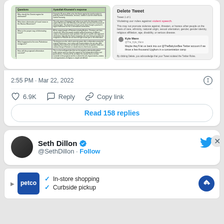[Figure (screenshot): Two side-by-side screenshots: left shows a green table with questions and responses about Ayatollah Khomeini; right shows a Twitter 'Delete Tweet' dialog with a tweet from Kyle Mann.]
2:55 PM · Mar 22, 2022
6.9K  Reply  Copy link
Read 158 replies
Seth Dillon @SethDillon · Follow
[Figure (advertisement): Petco advertisement banner showing in-store shopping and curbside pickup options with blue arrow icon.]